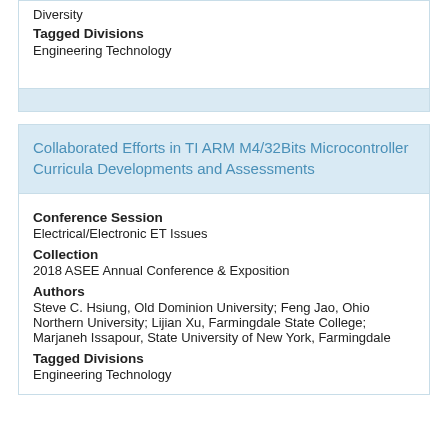Diversity
Tagged Divisions
Engineering Technology
Collaborated Efforts in TI ARM M4/32Bits Microcontroller Curricula Developments and Assessments
Conference Session
Electrical/Electronic ET Issues
Collection
2018 ASEE Annual Conference & Exposition
Authors
Steve C. Hsiung, Old Dominion University; Feng Jao, Ohio Northern University; Lijian Xu, Farmingdale State College; Marjaneh Issapour, State University of New York, Farmingdale
Tagged Divisions
Engineering Technology